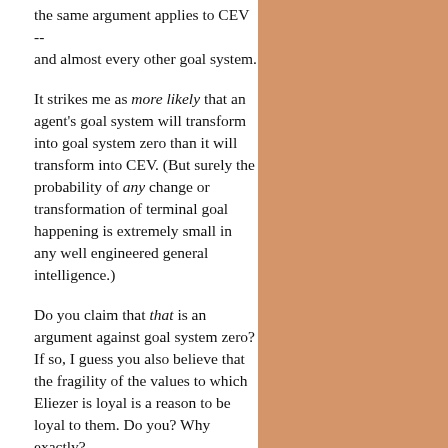the same argument applies to CEV -- and almost every other goal system.
It strikes me as more likely that an agent's goal system will transform into goal system zero than it will transform into CEV. (But surely the probability of any change or transformation of terminal goal happening is extremely small in any well engineered general intelligence.)
Do you claim that that is an argument against goal system zero? If so, I guess you also believe that the fragility of the values to which Eliezer is loyal is a reason to be loyal to them. Do you? Why exactly?
I acknowledge that preserving fragile things usually has instrumental value, but if the fragile thing is a goal, I am not sure that that applies, and even if it does, I would need to be convinced that a thing's having instrumental